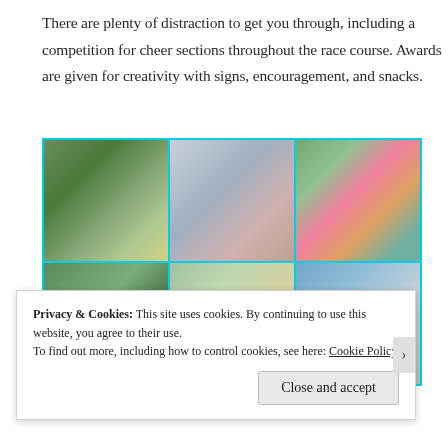There are plenty of distraction to get you through, including a competition for cheer sections throughout the race course. Awards are given for creativity with signs, encouragement, and snacks.
[Figure (photo): A 2x3 grid of outdoor race event photos showing participants, energy gel packets, signs, and spectators cheering at a road race.]
Privacy & Cookies: This site uses cookies. By continuing to use this website, you agree to their use.
To find out more, including how to control cookies, see here: Cookie Policy